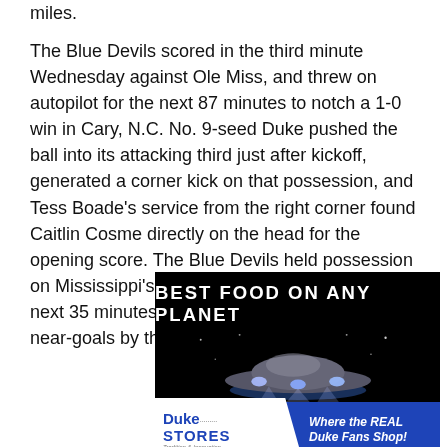miles.
The Blue Devils scored in the third minute Wednesday against Ole Miss, and threw on autopilot for the next 87 minutes to notch a 1-0 win in Cary, N.C. No. 9-seed Duke pushed the ball into its attacking third just after kickoff, generated a corner kick on that possession, and Tess Boade’s service from the right corner found Caitlin Cosme directly on the head for the opening score. The Blue Devils held possession on Mississippi’s side of the field for just about the next 35 minutes, and had at least a half-dozen near-goals by the half.
[Figure (advertisement): Duke Stores advertisement with text 'BEST FOOD ON ANY PLANET' over a dark background with a spacecraft image, and a blue banner reading 'Where the REAL Duke Fans Shop!']